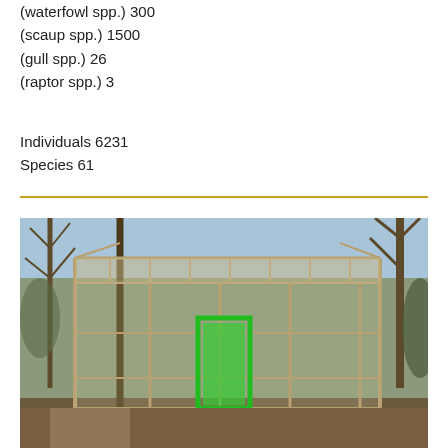(waterfowl spp.) 300
(scaup spp.) 1500
(gull spp.) 26
(raptor spp.) 3
Individuals 6231
Species 61
[Figure (photo): Outdoor wooden enclosure or aviary structure with a skeletal frame roof, set among bare deciduous trees. A green-framed door is visible in the center of the structure.]